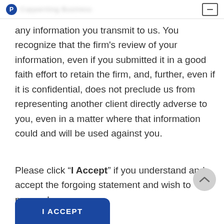Copywriting Business — [blurred title]
any information you transmit to us. You recognize that the firm’s review of your information, even if you submitted it in a good faith effort to retain the firm, and, further, even if it is confidential, does not preclude us from representing another client directly adverse to you, even in a matter where that information could and will be used against you.
Please click “I Accept” if you understand and accept the forgoing statement and wish to proceed.
[Figure (other): Scroll-to-top button (circular grey button with upward chevron arrow)]
[Figure (other): Blue rounded button labeled I ACCEPT]